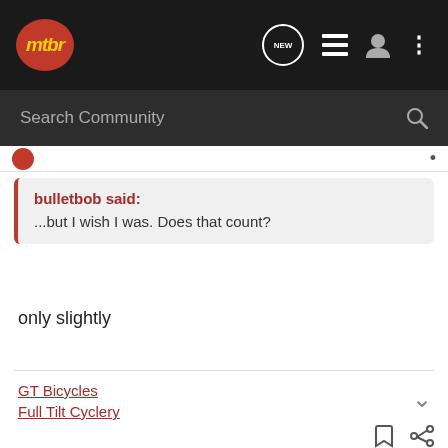mtbr navigation bar with search
bulletbob said: ...but I wish I was. Does that count?
only slightly
GT Bicycles
Full Tilt Cyclery
rmac · My cup runneth over 🇺🇸
Joined Oct 26, 2004 · 2,434 Posts